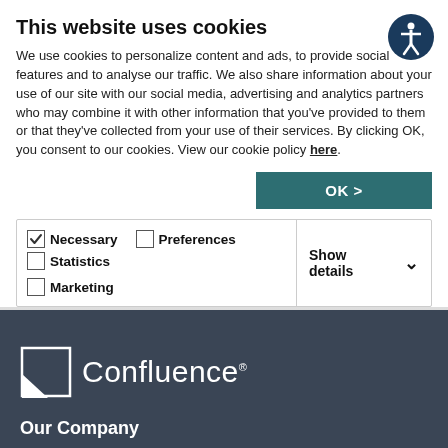This website uses cookies
We use cookies to personalize content and ads, to provide social features and to analyse our traffic. We also share information about your use of our site with our social media, advertising and analytics partners who may combine it with other information that you've provided to them or that they've collected from your use of their services. By clicking OK, you consent to our cookies. View our cookie policy here.
[Figure (other): Accessibility icon - circular dark blue badge with white person/accessibility symbol]
| Necessary | Preferences | Statistics | Show details |
| --- | --- | --- | --- |
| ✓ checked | unchecked | unchecked | ↓ |
[Figure (logo): Confluence logo - white square with diagonal cut showing stylized flag/triangle shape, followed by 'Confluence' text in white]
Our Company